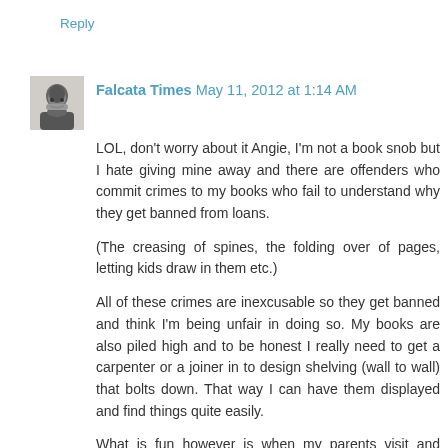Reply
Falcata Times May 11, 2012 at 1:14 AM
[Figure (photo): Small black and white avatar photo of an older man with a beard]
LOL, don't worry about it Angie, I'm not a book snob but I hate giving mine away and there are offenders who commit crimes to my books who fail to understand why they get banned from loans.
(The creasing of spines, the folding over of pages, letting kids draw in them etc.)
All of these crimes are inexcusable so they get banned and think I'm being unfair in doing so. My books are also piled high and to be honest I really need to get a carpenter or a joiner in to design shelving (wall to wall) that bolts down. That way I can have them displayed and find things quite easily.
What is fun however is when my parents visit and theres a huge pile in front of each of them to make a selection from.